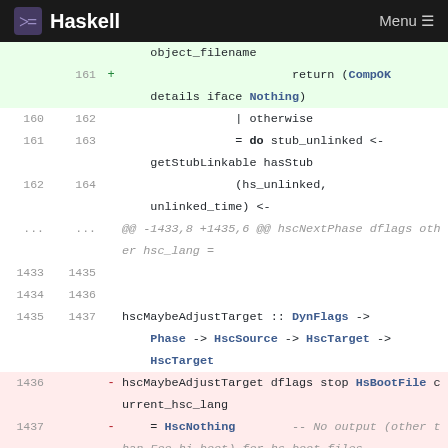Haskell  Menu
Code diff view showing Haskell source file changes. Lines 160-164 context, lines 1433-1437 with additions and deletions.